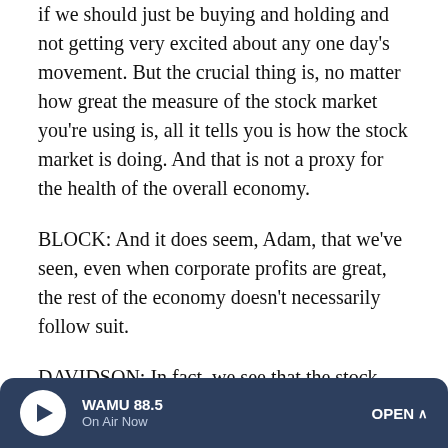if we should just be buying and holding and not getting very excited about any one day's movement. But the crucial thing is, no matter how great the measure of the stock market you're using is, all it tells you is how the stock market is doing. And that is not a proxy for the health of the overall economy.
BLOCK: And it does seem, Adam, that we've seen, even when corporate profits are great, the rest of the economy doesn't necessarily follow suit.
DAVIDSON: In fact, we see that the stock market often goes up exactly when unemployment goes up, which is something most of us do not celebrate, do not think is a great thing. The stock market really only has a loose correlation with things
[Figure (other): WAMU 88.5 radio player bar at bottom of screen with play button, station name, 'On Air Now' status, and OPEN button]